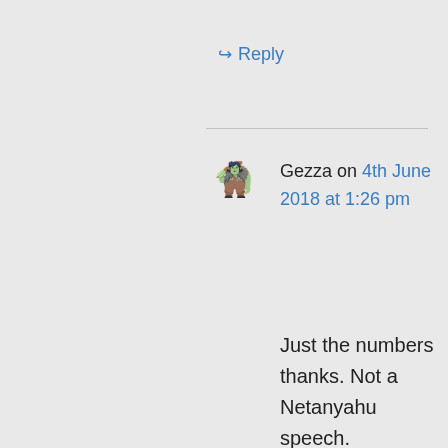↪ Reply
Gezza on 4th June 2018 at 1:26 pm
Just the numbers thanks. Not a Netanyahu speech.
👍 2 👎 1 ℹ Rate This
↪ Reply
David on 4th June 2018 at